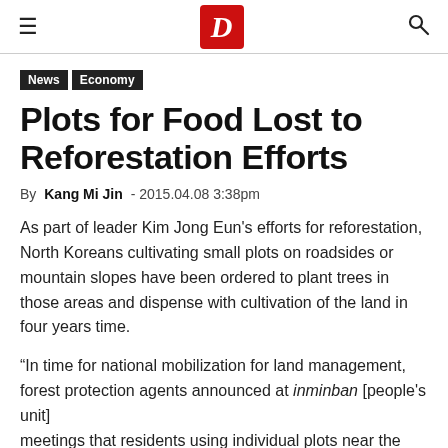D (logo)
News  Economy
Plots for Food Lost to Reforestation Efforts
By Kang Mi Jin - 2015.04.08 3:38pm
As part of leader Kim Jong Eun's efforts for reforestation, North Koreans cultivating small plots on roadsides or mountain slopes have been ordered to plant trees in those areas and dispense with cultivation of the land in four years time.
“In time for national mobilization for land management, forest protection agents announced at inminban [people's unit] meetings that residents using individual plots near the road